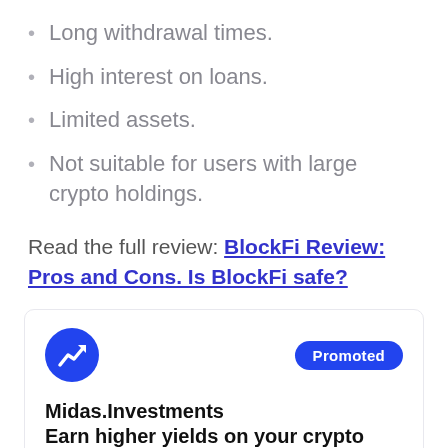Long withdrawal times.
High interest on loans.
Limited assets.
Not suitable for users with large crypto holdings.
Read the full review: BlockFi Review: Pros and Cons. Is BlockFi safe?
[Figure (other): Promoted advertisement card for Midas.Investments with blue circular logo showing a graph arrow icon, Promoted badge, and text: Midas.Investments Earn higher yields on your crypto]